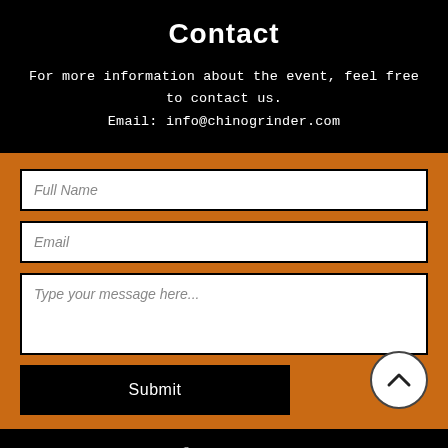Contact
For more information about the event, feel free to contact us.
Email: info@chinogrinder.com
[Figure (other): Web contact form with fields for Full Name, Email, and a message textarea, plus a Submit button and a scroll-up arrow button]
Copyright © 2022 by Chino Grinder. Proudly created by Talon Media Solutions